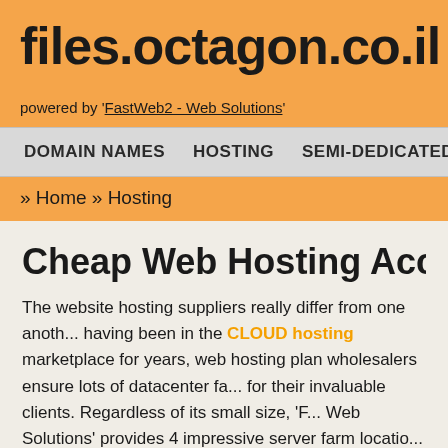files.octagon.co.il
powered by 'FastWeb2 - Web Solutions'
DOMAIN NAMES   HOSTING   SEMI-DEDICATED   DED...
» Home » Hosting
Cheap Web Hosting Account...
The website hosting suppliers really differ from one another, having been in the CLOUD hosting marketplace for years, web hosting plan wholesalers ensure lots of datacenter fa... for their invaluable clients. Regardless of its small size, 'F... Web Solutions' provides 4 impressive server farm locatio... Britain, Sweden and Australia. You can host domain nam... accounts or Linux web hosting packages in each of the abovementioned server farms. The more cutting-edge se... and dedicated hosting are available only in the United St...